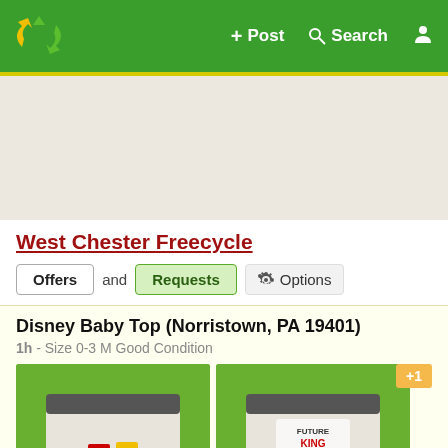+ Post  Q Search  [user icon]
[Figure (screenshot): Map area showing a beige/tan map background, the banner area for the Freecycle local group page]
West Chester Freecycle
Offers and Requests  Options
Disney Baby Top (Norristown, PA 19401)
1h - Size 0-3 M Good Condition
[Figure (photo): Two photos of a baby top placed on a green background. Left photo shows the front of a white/grey striped baby jacket with Disney character patches (M and a yellow character). Right photo shows the back of the same jacket with 'Future King' text and a character graphic. A '+1' badge is shown in the top right corner.]